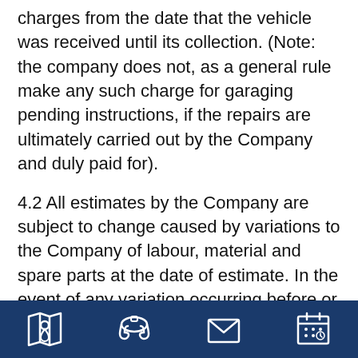charges from the date that the vehicle was received until its collection. (Note: the company does not, as a general rule make any such charge for garaging pending instructions, if the repairs are ultimately carried out by the Company and duly paid for).
4.2 All estimates by the Company are subject to change caused by variations to the Company of labour, material and spare parts at the date of estimate. In the event of any variation occurring before or after acceptance of the estimate the Company may if it thinks fit require the Customer to pay on completion of the work any increase due to
[icons: map, phone, email, calendar]